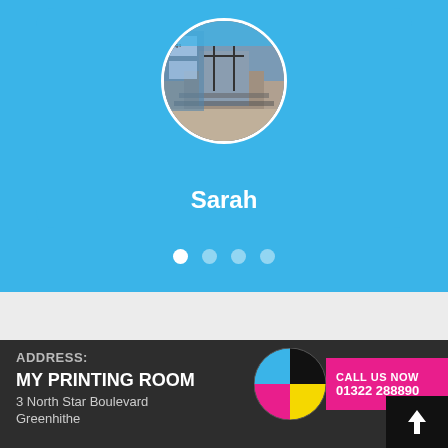[Figure (photo): Blue card/carousel element with circular profile photo of a storefront, name 'Sarah' below, and four navigation dots at the bottom]
Sarah
[Figure (logo): CMYK circle logo with blue, magenta, yellow, black quadrants]
CALL US NOW
01322 288890
ADDRESS:
MY PRINTING ROOM
3 North Star Boulevard
Greenhithe